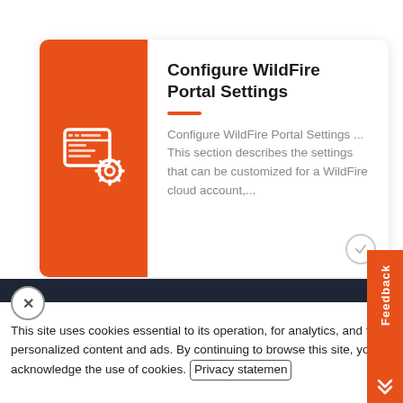[Figure (screenshot): Search result card for 'Configure WildFire Portal Settings' with orange icon area showing a settings/browser icon, bold title, orange divider line, and gray description text. A checkmark circle is in the bottom right.]
Configure WildFire Portal Settings
Configure WildFire Portal Settings ... This section describes the settings that can be customized for a WildFire cloud account,...
TECHNICAL DOCUMENTATION
Release Notes
This site uses cookies essential to its operation, for analytics, and for personalized content and ads. By continuing to browse this site, you acknowledge the use of cookies. Privacy statemen